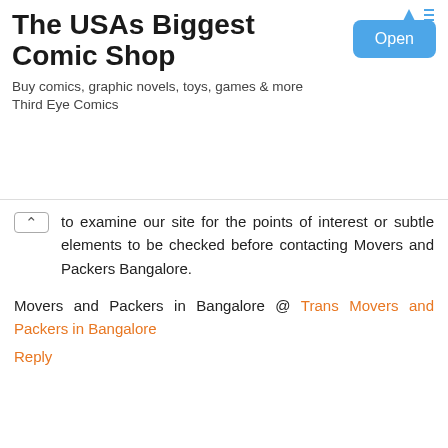[Figure (screenshot): Advertisement banner for 'The USAs Biggest Comic Shop' - Third Eye Comics with an Open button]
to examine our site for the points of interest or subtle elements to be checked before contacting Movers and Packers Bangalore.
Movers and Packers in Bangalore @ Trans Movers and Packers in Bangalore
Reply
Packers and Movers in Mumbai September 15, 2017 at 6:25 AM
This is really very nice blog and so informative. Thanks a lot for sharing this article.
Packers and Movers in Bangalore @ Trans Movers and Packers in Bangalore